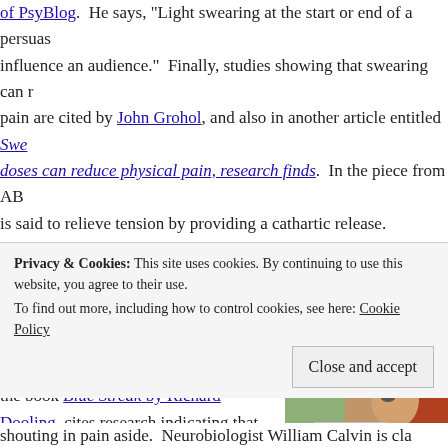of PsyBlog. He says, "Light swearing at the start or end of a persuasive message can positively influence an audience." Finally, studies showing that swearing can reduce pain are cited by John Grohol, and also in another article entitled Swearing in small doses can reduce physical pain, research finds. In the piece from ABC, swearing is said to relieve tension by providing a cathartic release.
This leads us to a common theme in my essays, which is our behavior has a substantial physiological connection. This article, quoting information from the book Blue Streak by Richard Dooling, cites research indicating that swearing
[Figure (photo): Woman with red hair looking sideways, holding an object with symbols, a large clock/gauge visible in background]
Privacy & Cookies: This site uses cookies. By continuing to use this website, you agree to their use. To find out more, including how to control cookies, see here: Cookie Policy
Close and accept
shouting in pain aside. Neurobiologist William Calvin is cla